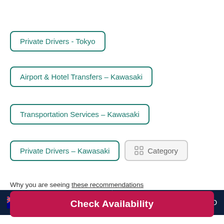Private Drivers - Tokyo
Airport & Hotel Transfers - Kawasaki
Transportation Services - Kawasaki
Private Drivers - Kawasaki
Category
Why you are seeing these recommendations
English (Australia)
$ USD
Check Availability